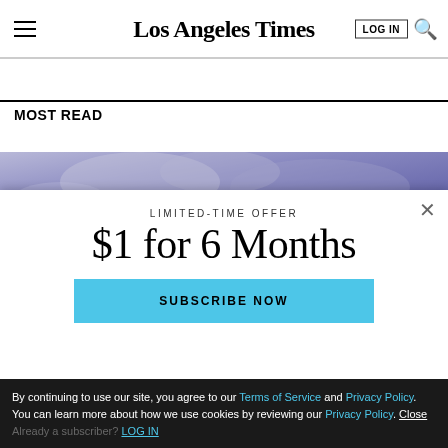Los Angeles Times
MOST READ
[Figure (photo): Partial photo visible behind paywall modal, showing a purple/blue sky]
LIMITED-TIME OFFER
$1 for 6 Months
SUBSCRIBE NOW
By continuing to use our site, you agree to our Terms of Service and Privacy Policy. You can learn more about how we use cookies by reviewing our Privacy Policy. Close Already a subscriber? LOG IN